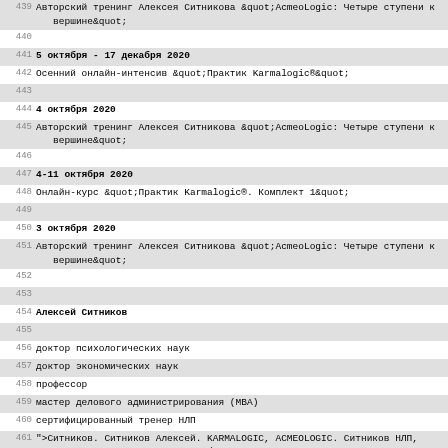439 Авторский тренинг Алексея Ситникова &quot;AcmeoLogic: Четыре ступени к вершине&quot;
440
441 5 октября - 17 декабря 2020
442 Осенний онлайн-интенсив &quot;Практик Karmalogic®&quot;
443
444 4 октября 2020
445 Авторский тренинг Алексея Ситникова &quot;AcmeoLogic: Четыре ступени к вершине&quot;
446
447 4-11 октября 2020
448 Онлайн-курс &quot;Практик Karmalogic®. Комплект 1&quot;
449
450 3 октября 2020
451 Авторский тренинг Алексея Ситникова &quot;AcmeoLogic: Четыре ступени к вершине&quot;
452
453
454 Алексей Ситников
455
456 доктор психологических наук
457 доктор экономических наук
458 профессор
459 мастер делового администрирования (MBA)
460 сертифицированный тренер НЛП
461 ">Ситников. Ситников Алексей. KARMALOGIC, ACMEOLOGIC. Ситников НЛП, политтехнолог, консультант</a>
462 </li>
463         <li class="cat-item cat-item-38"><a href="http://batmanapollo.ru/category/slovar-po-psihoanalizu-laplansh/" title="Психоанализ. Словарь по психоанализу. Словарь лапланша и понталиса онлайн.